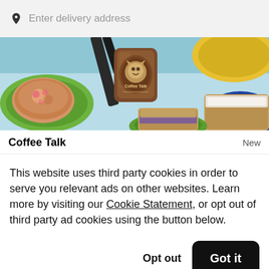Enter delivery address
[Figure (photo): Restaurant food photo showing pastries on colorful plates, a Coffee Talk branded cup, and baked goods on a light blue background.]
Coffee Talk
New
This website uses third party cookies in order to serve you relevant ads on other websites. Learn more by visiting our Cookie Statement, or opt out of third party ad cookies using the button below.
Opt out
Got it